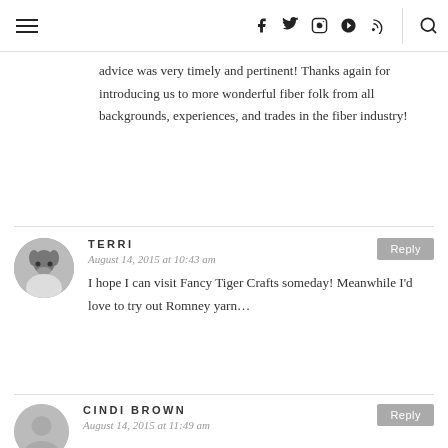≡  [social icons]  [search]
advice was very timely and pertinent! Thanks again for introducing us to more wonderful fiber folk from all backgrounds, experiences, and trades in the fiber industry!
TERRI
August 14, 2015 at 10:43 am
I hope I can visit Fancy Tiger Crafts someday! Meanwhile I'd love to try out Romney yarn…
CINDI BROWN
August 14, 2015 at 11:49 am